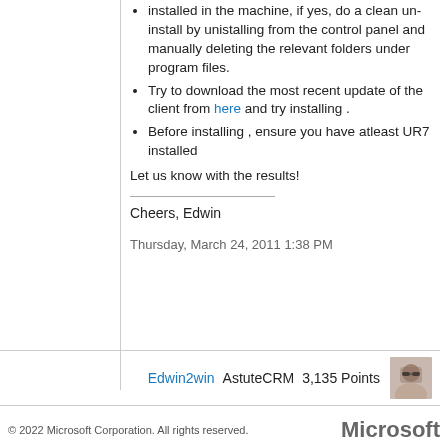installed in the machine, if yes, do a clean un-install by unistalling from the control panel and manually deleting the relevant folders under program files.
Try to download the most recent update of the client from here and try installing .
Before installing , ensure you have atleast UR7 installed
Let us know with the results!
Cheers, Edwin
Thursday, March 24, 2011 1:38 PM
Edwin2win AstuteCRM 3,135 Points
© 2022 Microsoft Corporation. All rights reserved.   Microsoft